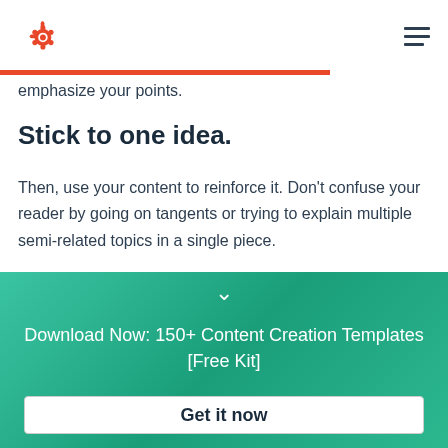HubSpot logo and hamburger menu
emphasize your points.
Stick to one idea.
Then, use your content to reinforce it. Don't confuse your reader by going on tangents or trying to explain multiple semi-related topics in a single piece.
Stay true to your voice.
Download Now: 150+ Content Creation Templates [Free Kit]
Get it now